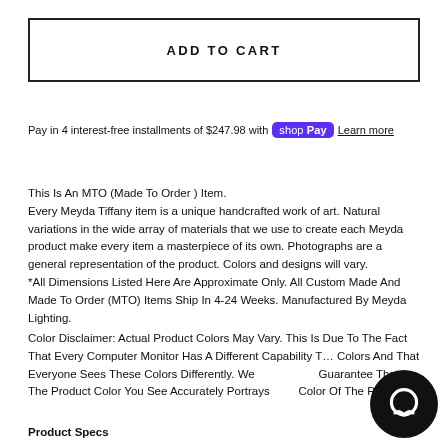ADD TO CART
Pay in 4 interest-free installments of $247.98 with Shop Pay  Learn more
This Is An MTO (Made To Order ) Item.
Every Meyda Tiffany item is a unique handcrafted work of art. Natural variations in the wide array of materials that we use to create each Meyda product make every item a masterpiece of its own. Photographs are a general representation of the product. Colors and designs will vary. *All Dimensions Listed Here Are Approximate Only. All Custom Made And Made To Order (MTO) Items Ship In 4-24 Weeks. Manufactured By Meyda Lighting.
Color Disclaimer: Actual Product Colors May Vary. This Is Due To The Fact That Every Computer Monitor Has A Different Capability To Display Colors And That Everyone Sees These Colors Differently. We Cannot Guarantee That The Product Color You See Accurately Portrays The True Color Of The Product.
Product Specs